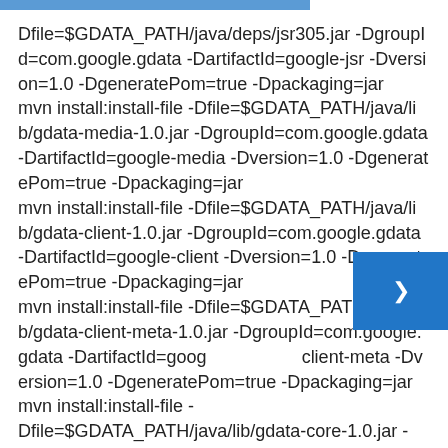Dfile=$GDATA_PATH/java/deps/jsr305.jar -DgroupId=com.google.gdata -DartifactId=google-jsr -Dversion=1.0 -DgeneratePom=true -Dpackaging=jar
mvn install:install-file -Dfile=$GDATA_PATH/java/lib/gdata-media-1.0.jar -DgroupId=com.google.gdata -DartifactId=google-media -Dversion=1.0 -DgeneratePom=true -Dpackaging=jar
mvn install:install-file -Dfile=$GDATA_PATH/java/lib/gdata-client-1.0.jar -DgroupId=com.google.gdata -DartifactId=google-client -Dversion=1.0 -DgeneratePom=true -Dpackaging=jar
mvn install:install-file -Dfile=$GDATA_PATH/java/lib/gdata-client-meta-1.0.jar -DgroupId=com.google.gdata -DartifactId=google-client-meta -Dversion=1.0 -DgeneratePom=true -Dpackaging=jar
mvn install:install-file -Dfile=$GDATA_PATH/java/lib/gdata-core-1.0.jar -